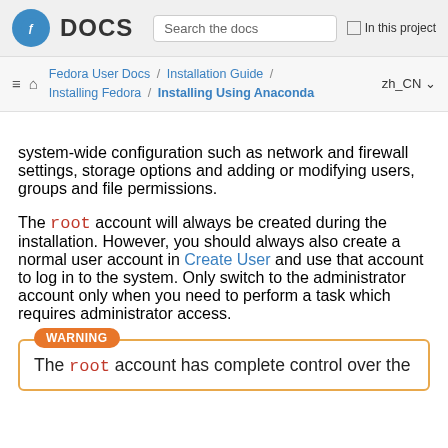DOCS  Search the docs  In this project
Fedora User Docs / Installation Guide / Installing Fedora / Installing Using Anaconda  zh_CN
system-wide configuration such as network and firewall settings, storage options and adding or modifying users, groups and file permissions.
The root account will always be created during the installation. However, you should always also create a normal user account in Create User and use that account to log in to the system. Only switch to the administrator account only when you need to perform a task which requires administrator access.
WARNING
The root account has complete control over the